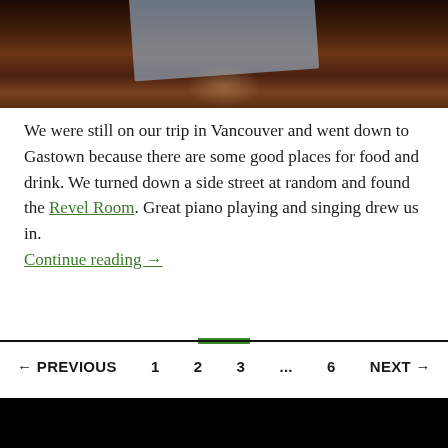[Figure (photo): Photo of a dark wooden table surface with a glass resting on a blue/grey napkin, with a reflection visible on the table surface. Bottom portion of a photo, cropped.]
We were still on our trip in Vancouver and went down to Gastown because there are some good places for food and drink. We turned down a side street at random and found the Revel Room. Great piano playing and singing drew us in.
Continue reading →
← PREVIOUS   1   2   3   ...   6   NEXT →